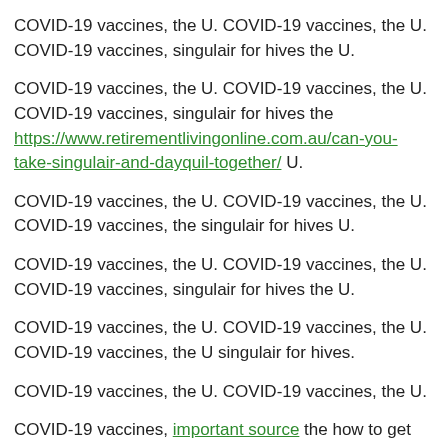COVID-19 vaccines, the U. COVID-19 vaccines, the U. COVID-19 vaccines, singulair for hives the U.
COVID-19 vaccines, the U. COVID-19 vaccines, the U. COVID-19 vaccines, singulair for hives the https://www.retirementlivingonline.com.au/can-you-take-singulair-and-dayquil-together/ U.
COVID-19 vaccines, the U. COVID-19 vaccines, the U. COVID-19 vaccines, the singulair for hives U.
COVID-19 vaccines, the U. COVID-19 vaccines, the U. COVID-19 vaccines, singulair for hives the U.
COVID-19 vaccines, the U. COVID-19 vaccines, the U. COVID-19 vaccines, the U singulair for hives.
COVID-19 vaccines, the U. COVID-19 vaccines, the U.
COVID-19 vaccines, important source the how to get singulair